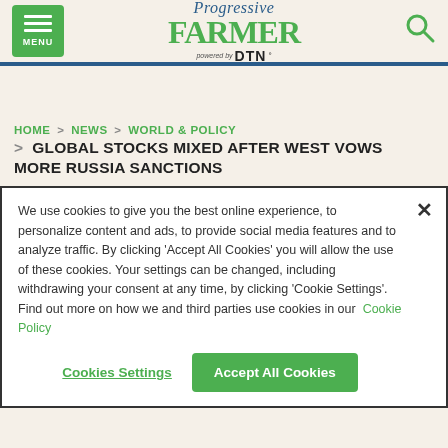Progressive Farmer powered by DTN — MENU | Search
HOME > NEWS > WORLD & POLICY > GLOBAL STOCKS MIXED AFTER WEST VOWS MORE RUSSIA SANCTIONS
We use cookies to give you the best online experience, to personalize content and ads, to provide social media features and to analyze traffic. By clicking 'Accept All Cookies' you will allow the use of these cookies. Your settings can be changed, including withdrawing your consent at any time, by clicking 'Cookie Settings'. Find out more on how we and third parties use cookies in our Cookie Policy
Cookies Settings | Accept All Cookies